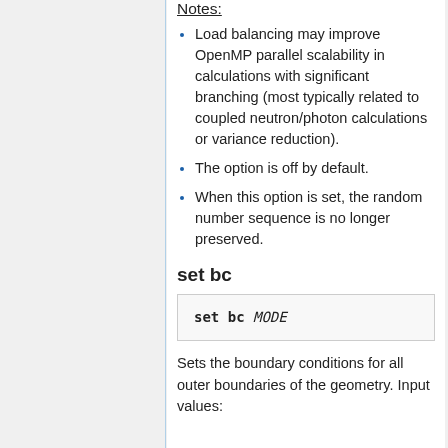Notes:
Load balancing may improve OpenMP parallel scalability in calculations with significant branching (most typically related to coupled neutron/photon calculations or variance reduction).
The option is off by default.
When this option is set, the random number sequence is no longer preserved.
set bc
set bc MODE
Sets the boundary conditions for all outer boundaries of the geometry. Input values: